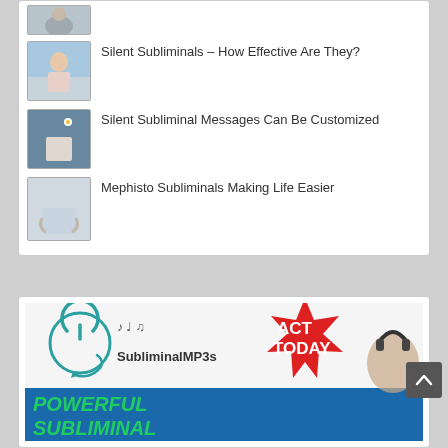[Figure (photo): Partial thumbnail of a person at top of list]
Silent Subliminals – How Effective Are They?
Silent Subliminal Messages Can Be Customized
Mephisto Subliminals Making Life Easier
[Figure (infographic): Advertisement banner for SubliminalMP3s with 'ACT TODAY' red burst, 'POWERFUL SUBLIMINALS' text in green, and a logo with headphone graphic]